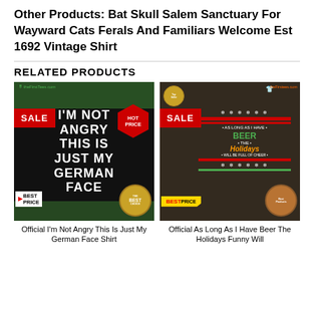Other Products: Bat Skull Salem Sanctuary For Wayward Cats Ferals And Familiars Welcome Est 1692 Vintage Shirt
RELATED PRODUCTS
[Figure (photo): T-shirt product image showing 'I'm Not Angry This Is Just My German Face' text on black shirt with SALE badge and HOT PRICE badge]
Official I'm Not Angry This Is Just My German Face Shirt
[Figure (photo): Christmas ugly sweater style t-shirt with beer holiday theme, SALE badge and BEST PRICE badge]
Official As Long As I Have Beer The Holidays Funny Will